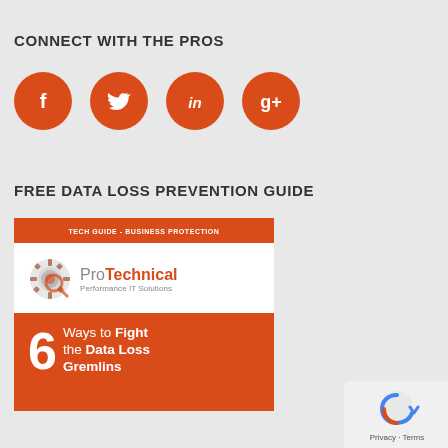CONNECT WITH THE PROS
[Figure (infographic): Four orange circular social media icons: Facebook, Twitter, LinkedIn, Google+]
FREE DATA LOSS PREVENTION GUIDE
[Figure (infographic): ProTechnical Performance IT Solutions guide cover: '6 Ways to Fight the Data Loss Gremlins' with orange header bar reading 'TECH GUIDE - BUSINESS PROTECTION']
[Figure (other): reCAPTCHA widget with Privacy and Terms links]